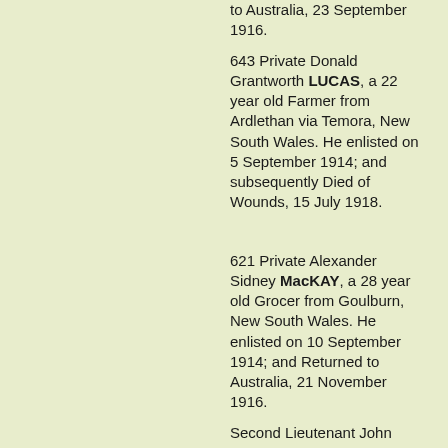to Australia, 23 September 1916.
643 Private Donald Grantworth LUCAS, a 22 year old Farmer from Ardlethan via Temora, New South Wales. He enlisted on 5 September 1914; and subsequently Died of Wounds, 15 July 1918.
621 Private Alexander Sidney MacKAY, a 28 year old Grocer from Goulburn, New South Wales. He enlisted on 10 September 1914; and Returned to Australia, 21 November 1916.
Second Lieutenant John James McMILLAN, a 24 year old not stated from Sydney NSW. He enlisted on 1 December 1914; and Returned to Australia, 29 August 1915.
644 Private Charles Henry METCALFE, a 22 year old Farmer from Sydney NSW. He